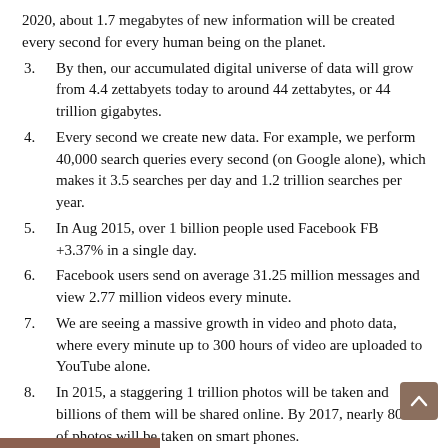2020, about 1.7 megabytes of new information will be created every second for every human being on the planet.
3.    By then, our accumulated digital universe of data will grow from 4.4 zettabyets today to around 44 zettabytes, or 44 trillion gigabytes.
4.    Every second we create new data. For example, we perform 40,000 search queries every second (on Google alone), which makes it 3.5 searches per day and 1.2 trillion searches per year.
5.    In Aug 2015, over 1 billion people used Facebook FB +3.37% in a single day.
6.    Facebook users send on average 31.25 million messages and view 2.77 million videos every minute.
7.    We are seeing a massive growth in video and photo data, where every minute up to 300 hours of video are uploaded to YouTube alone.
8.    In 2015, a staggering 1 trillion photos will be taken and billions of them will be shared online. By 2017, nearly 80% of photos will be taken on smart phones.
9.    This year, over 1.4 billion smart phones will be shipped –